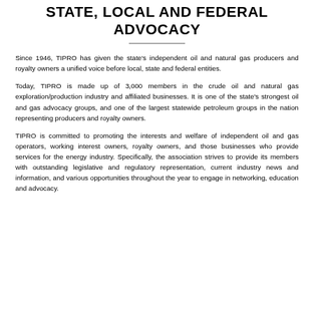STATE, LOCAL AND FEDERAL ADVOCACY
Since 1946, TIPRO has given the state's independent oil and natural gas producers and royalty owners a unified voice before local, state and federal entities.
Today, TIPRO is made up of 3,000 members in the crude oil and natural gas exploration/production industry and affiliated businesses. It is one of the state's strongest oil and gas advocacy groups, and one of the largest statewide petroleum groups in the nation representing producers and royalty owners.
TIPRO is committed to promoting the interests and welfare of independent oil and gas operators, working interest owners, royalty owners, and those businesses who provide services for the energy industry. Specifically, the association strives to provide its members with outstanding legislative and regulatory representation, current industry news and information, and various opportunities throughout the year to engage in networking, education and advocacy.